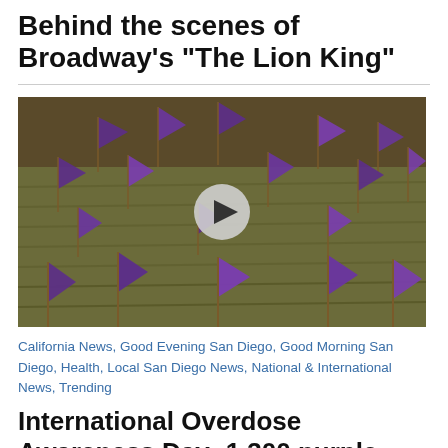Behind the scenes of Broadway's "The Lion King"
[Figure (photo): A field of purple flags planted in grass, with a video play button overlay in the center. The flags are scattered across a lawn with rows of mowed grass visible.]
California News, Good Evening San Diego, Good Morning San Diego, Health, Local San Diego News, National & International News, Trending
International Overdose Awareness Day: 1,300 purple